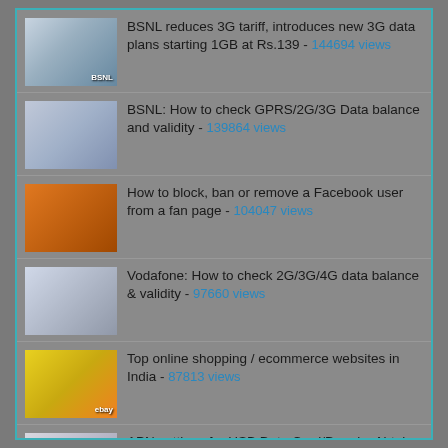BSNL reduces 3G tariff, introduces new 3G data plans starting 1GB at Rs.139 - 144694 views
BSNL: How to check GPRS/2G/3G Data balance and validity - 139864 views
How to block, ban or remove a Facebook user from a fan page - 104047 views
Vodafone: How to check 2G/3G/4G data balance & validity - 97660 views
Top online shopping / ecommerce websites in India - 87813 views
APN settings for USB Data Card/Dongle: Airtel, Vodafone, Aircel, Idea, BSNL, TATA, Reliance - 86766 views